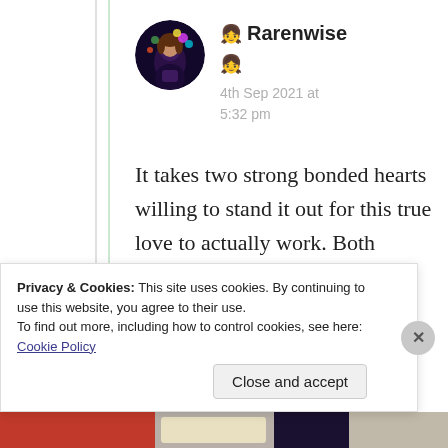[Figure (photo): Circular avatar photo of user Rarenwise — dark background with colorful artistic illustration of a woman with feathers and flowers]
🧑 Rarenwise
🧑
4th Sep 2021 at 5:32 pm
It takes two strong bonded hearts willing to stand it out for this true love to actually work. Both partners have to
Privacy & Cookies: This site uses cookies. By continuing to use this website, you agree to their use.
To find out more, including how to control cookies, see here: Cookie Policy
Close and accept